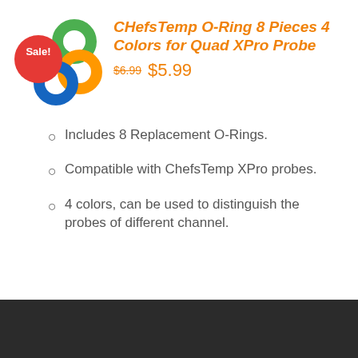[Figure (illustration): Product image showing colorful O-rings (red, green, blue, orange) with a red 'Sale!' badge circle overlapping on the left side.]
CHefsTemp O-Ring 8 Pieces 4 Colors for Quad XPro Probe
$6.99  $5.99
Includes 8 Replacement O-Rings.
Compatible with ChefsTemp XPro probes.
4 colors, can be used to distinguish the probes of different channel.